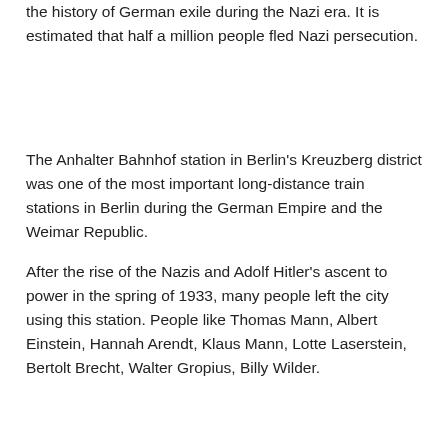the history of German exile during the Nazi era. It is estimated that half a million people fled Nazi persecution.
The Anhalter Bahnhof station in Berlin's Kreuzberg district was one of the most important long-distance train stations in Berlin during the German Empire and the Weimar Republic.
After the rise of the Nazis and Adolf Hitler's ascent to power in the spring of 1933, many people left the city using this station. People like Thomas Mann, Albert Einstein, Hannah Arendt, Klaus Mann, Lotte Laserstein, Bertolt Brecht, Walter Gropius, Billy Wilder.
From 1942, the Nazis used the station to deport Jews to the Theresienstadt concentration camp.
Many of those emigrants were not allowed to work in